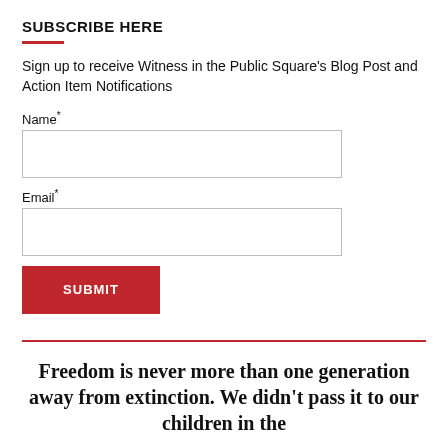SUBSCRIBE HERE
Sign up to receive Witness in the Public Square's Blog Post and Action Item Notifications
Name*
Email*
SUBMIT
Freedom is never more than one generation away from extinction. We didn't pass it to our children in the